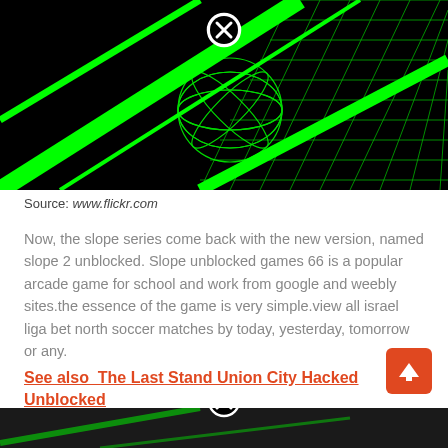[Figure (screenshot): Black background with bright green neon diagonal lines and a wireframe globe/sphere with a close button (circled X) overlay. This is a game screenshot from Slope game.]
Source: www.flickr.com
Now, the slope series come back with the new version, named slope 2 unblocked. Slope unblocked games 66 is a popular arcade game for school and work from google and weebly sites.the essence of the game is very simple.view all israel liga bet north soccer matches by today, yesterday, tomorrow or any.
See also  The Last Stand Union City Hacked Unblocked
[Figure (screenshot): Bottom portion of another game screenshot, partially visible, with a close button overlay.]